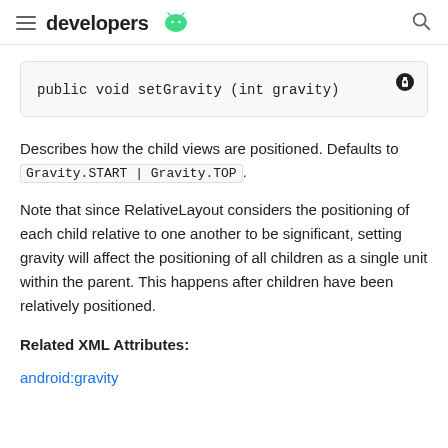developers
Describes how the child views are positioned. Defaults to Gravity.START | Gravity.TOP.
Note that since RelativeLayout considers the positioning of each child relative to one another to be significant, setting gravity will affect the positioning of all children as a single unit within the parent. This happens after children have been relatively positioned.
Related XML Attributes:
android:gravity